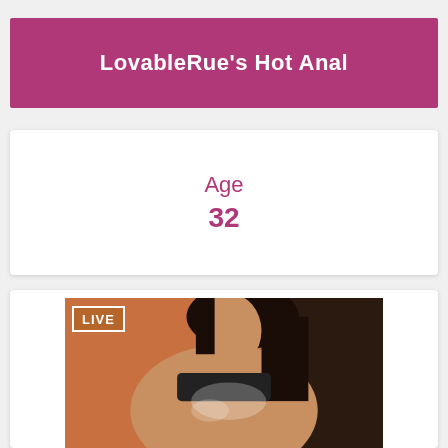LovableRue's Hot Anal
Age
32
[Figure (photo): Live webcam photo of a woman with dark hair, wearing black, with a LIVE badge overlay in the top-left corner of the image]